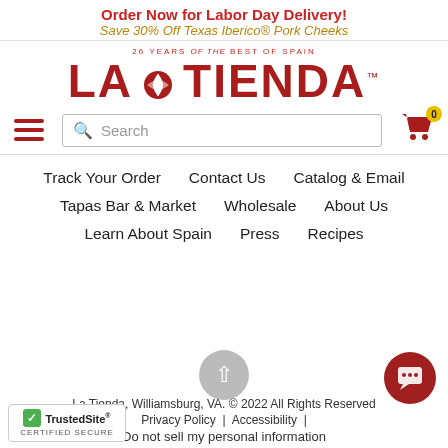Order Now for Labor Day Delivery! Save 30% Off Texas Iberico® Pork Cheeks
[Figure (logo): La Tienda logo — 26 Years of the Best of Spain — with shell emblem]
Search
Track Your Order   Contact Us   Catalog & Email   Tapas Bar & Market   Wholesale   About Us   Learn About Spain   Press   Recipes
La Tienda, Williamsburg, VA. © 2022 All Rights Reserved
Privacy Policy | Accessibility |
Do not sell my personal information